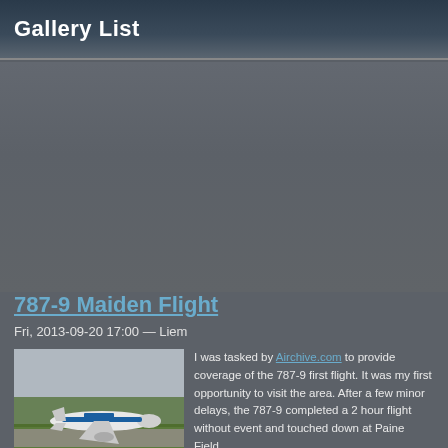Gallery List
787-9 Maiden Flight
Fri, 2013-09-20 17:00 — Liem
[Figure (photo): Boeing 787-9 aircraft on a runway taking off or landing, with blue and white livery, green trees in background and overcast sky.]
I was tasked by Airchive.com to provide coverage of the 787-9 first flight. It was my first opportunity to visit the area. After a few minor delays, the 787-9 completed a 2 hour flight without event and touched down at Paine Field.